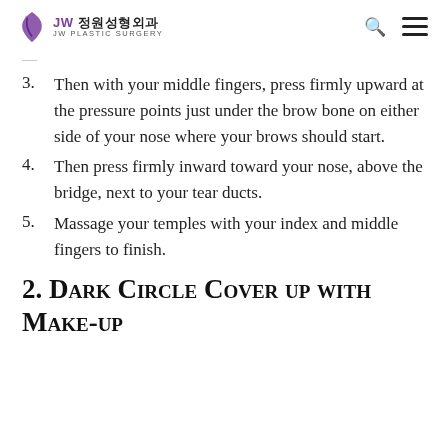JW 정원성형외과 JW PLASTIC SURGERY
3. Then with your middle fingers, press firmly upward at the pressure points just under the brow bone on either side of your nose where your brows should start.
4. Then press firmly inward toward your nose, above the bridge, next to your tear ducts.
5. Massage your temples with your index and middle fingers to finish.
2. Dark Circle Cover up with Make-up